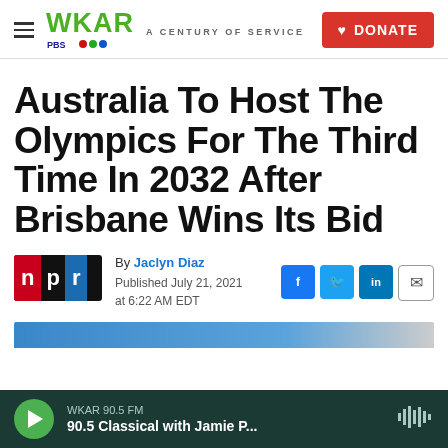WKAR — A CENTURY OF SERVICE | DONATE
Australia To Host The Olympics For The Third Time In 2032 After Brisbane Wins Its Bid
By Jaclyn Diaz
Published July 21, 2021 at 6:22 AM EDT
[Figure (other): Partial image preview of article photo]
WKAR 90.5 FM — 90.5 Classical with Jamie P...